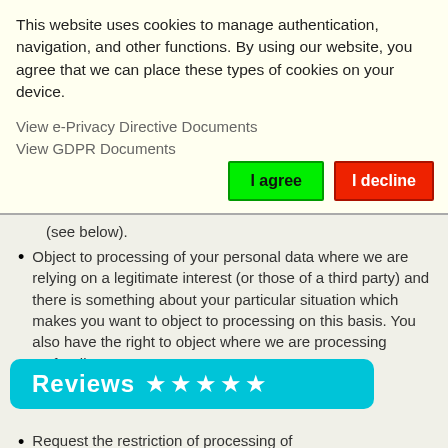This website uses cookies to manage authentication, navigation, and other functions. By using our website, you agree that we can place these types of cookies on your device.
View e-Privacy Directive Documents
View GDPR Documents
I agree
I decline
(see below).
Object to processing of your personal data where we are relying on a legitimate interest (or those of a third party) and there is something about your particular situation which makes you want to object to processing on this basis. You also have the right to object where we are processing your personal information for direct marketing purposes.
[Figure (infographic): Reviews banner with 5 stars rating in cyan/teal background]
Request the restriction of processing of